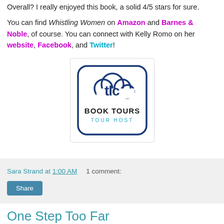Overall? I really enjoyed this book, a solid 4/5 stars for sure.
You can find Whistling Women on Amazon and Barnes & Noble, of course. You can connect with Kelly Romo on her website, Facebook, and Twitter!
[Figure (logo): TLC Book Tours Tour Host logo — cloud-shaped icon with 'tlc' text inside, 'BOOK TOURS' in bold dark text, 'TOUR HOST' in teal below, rounded square border]
Sara Strand at 1:00 AM   1 comment:
Share
One Step Too Far